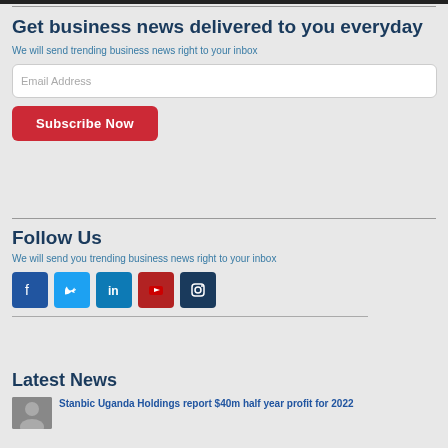Get business news delivered to you everyday
We will send trending business news right to your inbox
Email Address
Subscribe Now
Follow Us
We will send you trending business news right to your inbox
[Figure (infographic): Social media icons: Facebook (blue), Twitter (light blue), LinkedIn (dark blue), YouTube (red), Instagram (dark blue)]
Latest News
Stanbic Uganda Holdings report $40m half year profit for 2022